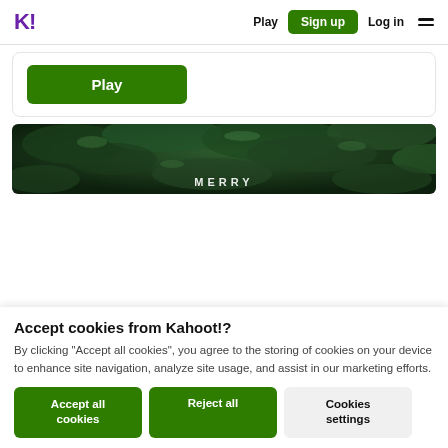K! Play Sign up Log in ≡
Play
[Figure (photo): Dark green pine/fern foliage background image with the word MERRY overlaid in white text]
Accept cookies from Kahoot!?
By clicking "Accept all cookies", you agree to the storing of cookies on your device to enhance site navigation, analyze site usage, and assist in our marketing efforts.
Accept all cookies  Reject all  Cookies settings